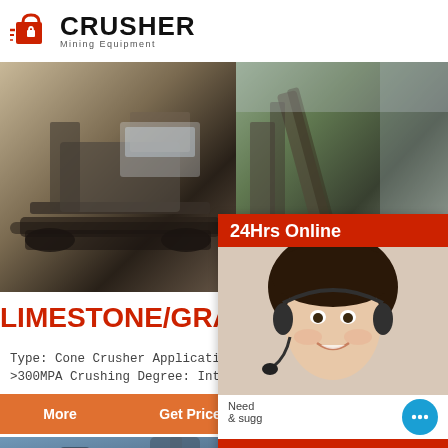[Figure (logo): Crusher Mining Equipment logo with red shopping cart icon and bold CRUSHER text]
[Figure (photo): Left: mobile crusher machine on dirt ground; Right: conveyor belt and industrial crushing plant]
LIMESTONE/GRANITE/GRAVEL S
Type: Cone Crusher Application: Construction Cr >300MPA Crushing Degree: Intermediate Crush
More  Get Price  Email c
[Figure (photo): 24Hrs Online chat widget with customer service representative, Chat Now button, Enquiry link, and limingjlmofen@sina.com email]
[Figure (photo): Bottom photos: industrial factory/plant structures]